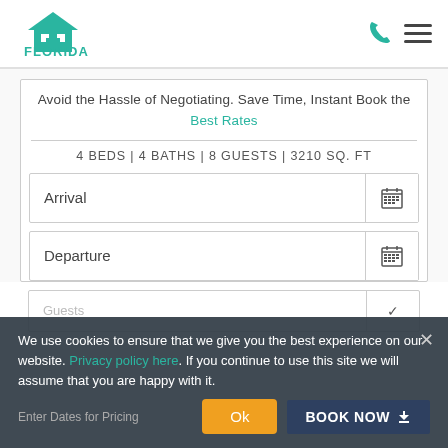Florida Vacation Homes
Avoid the Hassle of Negotiating. Save Time, Instant Book the Best Rates
4 BEDS | 4 BATHS | 8 GUESTS | 3210 SQ. FT
Arrival
Departure
Guests
Enter Dates for Pricing
BOOK NOW
We use cookies to ensure that we give you the best experience on our website. Privacy policy here. If you continue to use this site we will assume that you are happy with it.
Ok